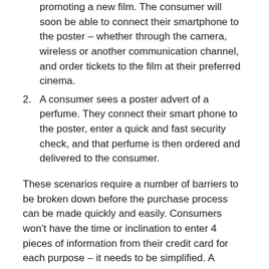promoting a new film. The consumer will soon be able to connect their smartphone to the poster – whether through the camera, wireless or another communication channel, and order tickets to the film at their preferred cinema.
2. A consumer sees a poster advert of a perfume. They connect their smart phone to the poster, enter a quick and fast security check, and that perfume is then ordered and delivered to the consumer.
These scenarios require a number of barriers to be broken down before the purchase process can be made quickly and easily. Consumers won't have the time or inclination to enter 4 pieces of information from their credit card for each purpose – it needs to be simplified. A current example of this is PayPal's mobile app which has been simplified recently to remove long passwords and replace them with a 4 digit PIN number.